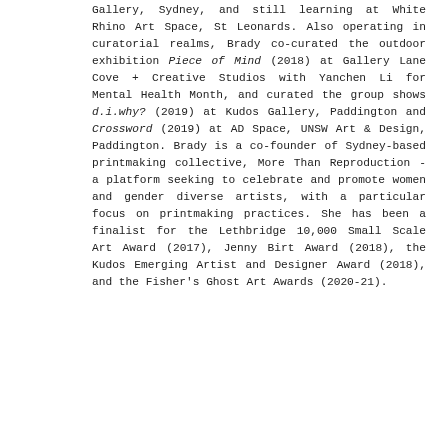Gallery, Sydney, and still learning at White Rhino Art Space, St Leonards. Also operating in curatorial realms, Brady co-curated the outdoor exhibition Piece of Mind (2018) at Gallery Lane Cove + Creative Studios with Yanchen Li for Mental Health Month, and curated the group shows d.i.why? (2019) at Kudos Gallery, Paddington and Crossword (2019) at AD Space, UNSW Art & Design, Paddington. Brady is a co-founder of Sydney-based printmaking collective, More Than Reproduction - a platform seeking to celebrate and promote women and gender diverse artists, with a particular focus on printmaking practices. She has been a finalist for the Lethbridge 10,000 Small Scale Art Award (2017), Jenny Birt Award (2018), the Kudos Emerging Artist and Designer Award (2018), and the Fisher's Ghost Art Awards (2020-21).